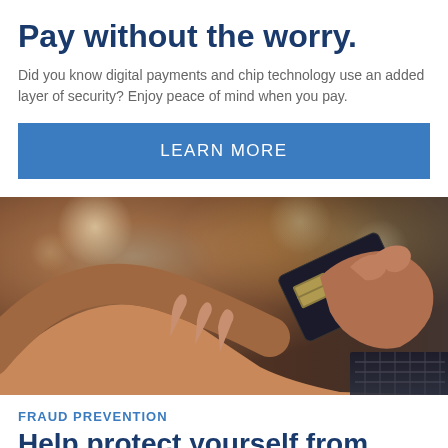Pay without the worry.
Did you know digital payments and chip technology use an added layer of security? Enjoy peace of mind when you pay.
LEARN MORE
[Figure (photo): Person typing on a laptop keyboard while holding a credit card in the other hand, warm bokeh lighting in background]
FRAUD PREVENTION
Help protect yourself from fraud